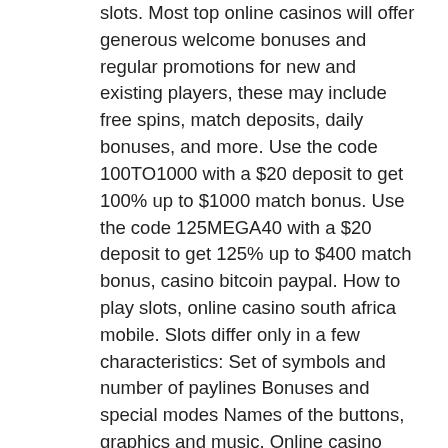slots. Most top online casinos will offer generous welcome bonuses and regular promotions for new and existing players, these may include free spins, match deposits, daily bonuses, and more. Use the code 100TO1000 with a $20 deposit to get 100% up to $1000 match bonus. Use the code 125MEGA40 with a $20 deposit to get 125% up to $400 match bonus, casino bitcoin paypal. How to play slots, online casino south africa mobile. Slots differ only in a few characteristics: Set of symbols and number of paylines Bonuses and special modes Names of the buttons, graphics and music. Online casino games real money provides a secure and excellent gaming experience, and with the option of juicy bonuses, online casinos are becoming more appealing than ever. A stigma that online casinos dont't give you your cash quickly is false, free playboy casino slots. The tool filters out the lowest price and the highest